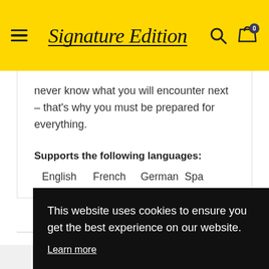Signature Edition
never know what you will encounter next – that's why you must be prepared for everything.
Supports the following languages:
English
French
German
Spa
This website uses cookies to ensure you get the best experience on our website.
Learn more
Got it!